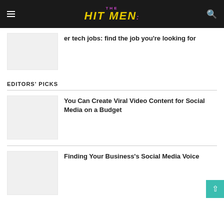THE HIT MEN
er tech jobs: find the job you're looking for
EDITORS' PICKS
You Can Create Viral Video Content for Social Media on a Budget
Finding Your Business's Social Media Voice